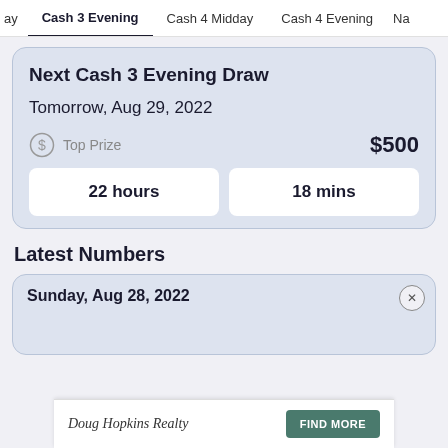ay  |  Cash 3 Evening  |  Cash 4 Midday  |  Cash 4 Evening  |  Na
Next Cash 3 Evening Draw
Tomorrow, Aug 29, 2022
Top Prize  $500
22 hours  18 mins
Latest Numbers
Sunday, Aug 28, 2022
Doug Hopkins Realty  FIND MORE